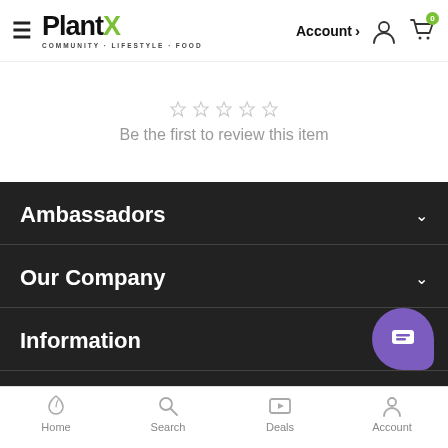PlantX — COMMUNITY · LIFESTYLE · FOOD | Account > | Cart 0
Be the first to review this item
Ambassadors
Our Company
Information
PlantX
Home | Search | Deals | Account